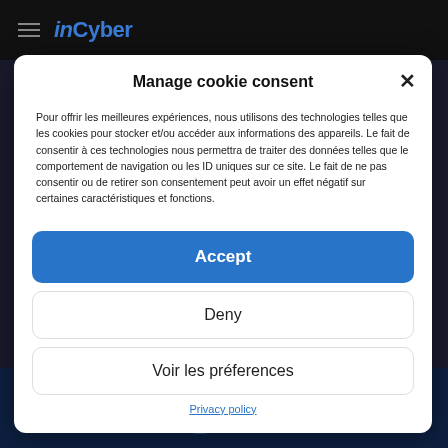inCyber
Manage cookie consent
Pour offrir les meilleures expériences, nous utilisons des technologies telles que les cookies pour stocker et/ou accéder aux informations des appareils. Le fait de consentir à ces technologies nous permettra de traiter des données telles que le comportement de navigation ou les ID uniques sur ce site. Le fait de ne pas consentir ou de retirer son consentement peut avoir un effet négatif sur certaines caractéristiques et fonctions.
Accept
Deny
Voir les préferences
Privacy policy
[Figure (screenshot): Dark screenshot of a cybersecurity dashboard with blue tones and data visualization elements]